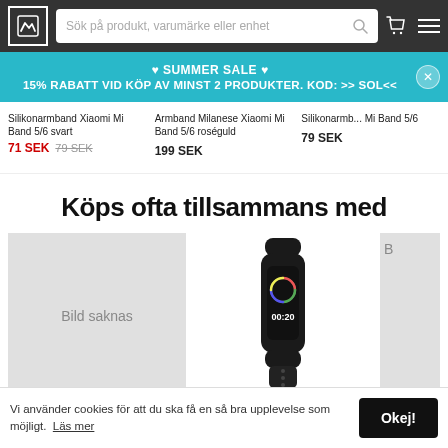[Figure (screenshot): E-commerce website header with logo, search bar, cart icon and hamburger menu on dark background]
[Figure (infographic): Cyan/turquoise promotional banner: SUMMER SALE heart icons, 15% RABATT VID KÖP AV MINST 2 PRODUKTER. KOD: >> SOL<<]
Silikonarmband Xiaomi Mi Band 5/6 svart
71 SEK  79 SEK
Armband Milanese Xiaomi Mi Band 5/6 roséguld
199 SEK
Silikonarmband Xiaomi Mi Band 5/6
79 SEK
Köps ofta tillsammans med
[Figure (photo): Gray placeholder card with text 'Bild saknas']
[Figure (photo): Photo of Xiaomi Mi Band fitness tracker in black]
[Figure (photo): Partial gray placeholder card clipped at right edge]
Vi använder cookies för att du ska få en så bra upplevelse som möjligt.  Läs mer
Okej!